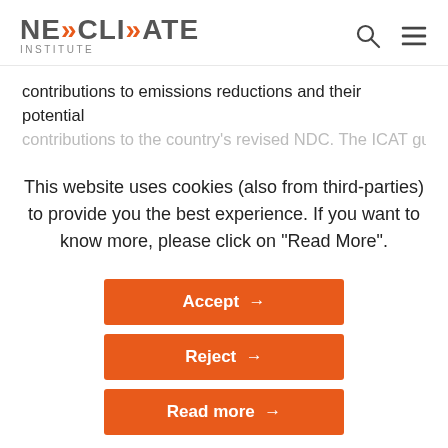NEW CLIMATE INSTITUTE
contributions to emissions reductions and their potential contributions to the country's revised NDC. The ICAT gui...
This website uses cookies (also from third-parties) to provide you the best experience. If you want to know more, please click on "Read More".
Accept →
Reject →
Read more →